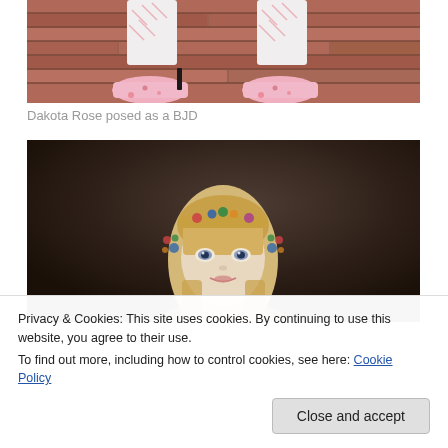[Figure (photo): Close-up photo of a person wearing white floral socks and pink floral high-heel platform shoes, standing on a brick surface with fallen leaves]
Dakota Rose posed as a BJD
[Figure (photo): Photo of a BJD (Ball-Jointed Doll) with a realistic face, blonde hair, and a decorative floral headpiece, set against a dark brown background]
Privacy & Cookies: This site uses cookies. By continuing to use this website, you agree to their use.
To find out more, including how to control cookies, see here: Cookie Policy
Close and accept